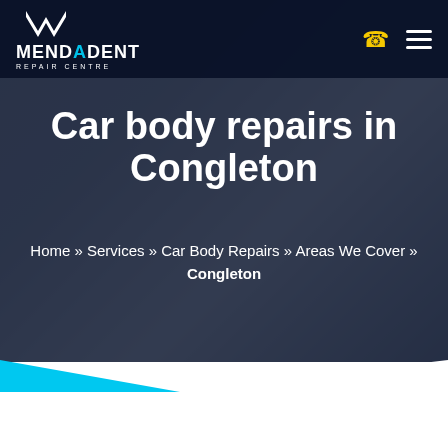[Figure (logo): MendaDent Repair Centre logo with white chevron/M icon and cyan accent letter A]
[Figure (photo): Dark overlay hero image showing mechanic hands holding blue microfiber cloth, working on car body repair]
Car body repairs in Congleton
Home » Services » Car Body Repairs » Areas We Cover » Congleton